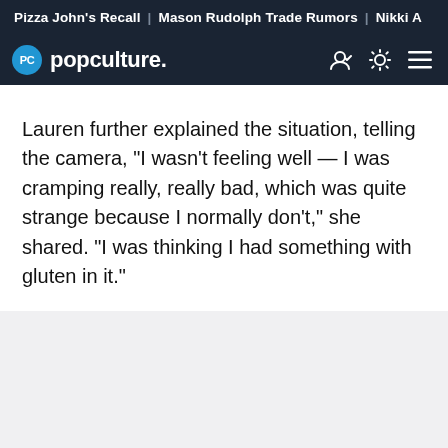Pizza John's Recall | Mason Rudolph Trade Rumors | Nikki A
popculture.
Lauren further explained the situation, telling the camera, "I wasn't feeling well — I was cramping really, really bad, which was quite strange because I normally don't," she shared. "I was thinking I had something with gluten in it."